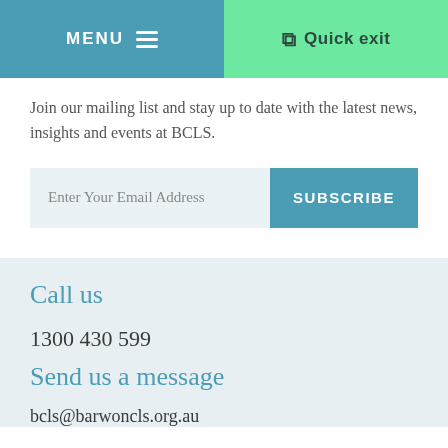MENU  Quick exit
Join our mailing list and stay up to date with the latest news, insights and events at BCLS.
Enter Your Email Address  SUBSCRIBE
Call us
1300 430 599
Send us a message
bcls@barwoncls.org.au